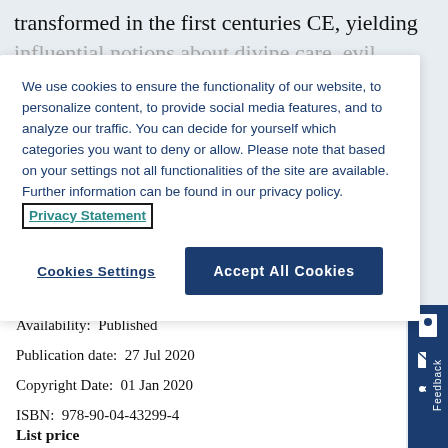transformed in the first centuries CE, yielding influential notions about divine care, evil
We use cookies to ensure the functionality of our website, to personalize content, to provide social media features, and to analyze our traffic. You can decide for yourself which categories you want to deny or allow. Please note that based on your settings not all functionalities of the site are available. Further information can be found in our privacy policy. Privacy Statement
Cookies Settings
Accept All Cookies
Availability:  Published
Publication date:  27 Jul 2020
Copyright Date:  01 Jan 2020
ISBN:  978-90-04-43299-4
List price
EUR  €149.00 / USD  $179.00
Hardback
Feedback